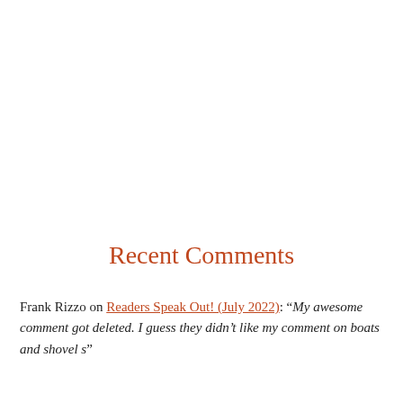Recent Comments
Frank Rizzo on Readers Speak Out! (July 2022): “My awesome comment got deleted. I guess they didn’t like my comment on boats and shovel s”